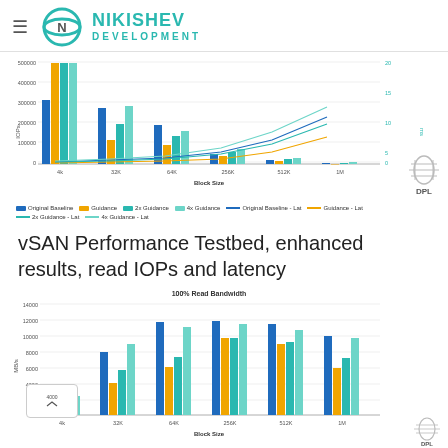NIKISHEV DEVELOPMENT
[Figure (grouped-bar-chart): 100% Read IOPs and Latency]
vSAN Performance Testbed, enhanced results, read IOPs and latency
[Figure (grouped-bar-chart): 100% Read Bandwidth]